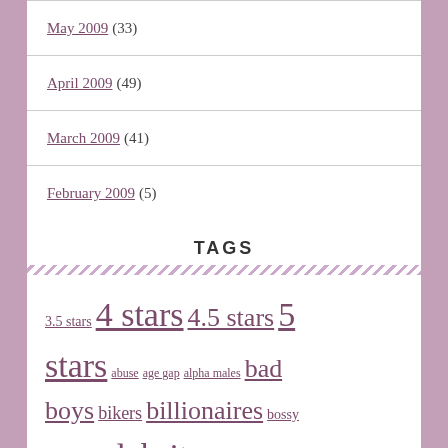May 2009 (33)
April 2009 (49)
March 2009 (41)
February 2009 (5)
TAGS
3.5 stars 4 stars 4.5 stars 5 stars abuse age gap alpha males bad boys bikers billionaires bossy bullies celebrity romance cheating comedy romance contemporary romance dark read dark romance forbidden love giveaway infidelity kidnapped